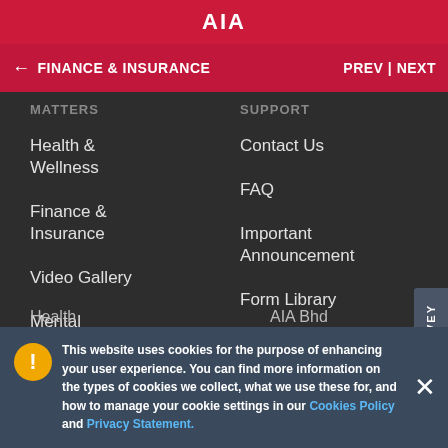AIA
← FINANCE & INSURANCE    PREV | NEXT
MATTERS
Health & Wellness
Finance & Insurance
Video Gallery
Mental Wellbeing
Health
SUPPORT
Contact Us
FAQ
Important Announcement
Form Library
AIA MALAYSIA
This website uses cookies for the purpose of enhancing your user experience. You can find more information on the types of cookies we collect, what we use these for, and how to manage your cookie settings in our Cookies Policy and Privacy Statement.